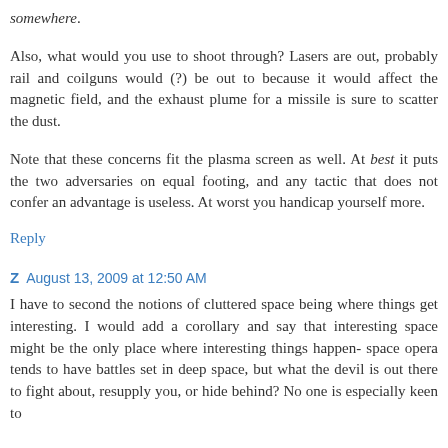somewhere.
Also, what would you use to shoot through? Lasers are out, probably rail and coilguns would (?) be out to because it would affect the magnetic field, and the exhaust plume for a missile is sure to scatter the dust.
Note that these concerns fit the plasma screen as well. At best it puts the two adversaries on equal footing, and any tactic that does not confer an advantage is useless. At worst you handicap yourself more.
Reply
Z  August 13, 2009 at 12:50 AM
I have to second the notions of cluttered space being where things get interesting. I would add a corollary and say that interesting space might be the only place where interesting things happen- space opera tends to have battles set in deep space, but what the devil is out there to fight about, resupply you, or hide behind? No one is especially keen to